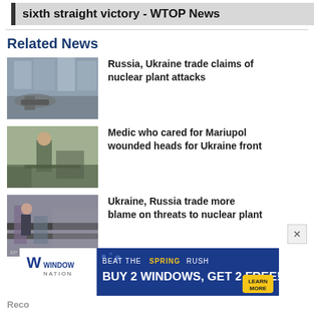sixth straight victory - WTOP News
Related News
[Figure (photo): Bombed building exterior with crowd and crater in foreground]
Russia, Ukraine trade claims of nuclear plant attacks
[Figure (photo): Soldier in camouflage uniform standing near vehicles]
Medic who cared for Mariupol wounded heads for Ukraine front
[Figure (photo): People on a train platform, person looking down at device]
Ukraine, Russia trade more blame on threats to nuclear plant
[Figure (infographic): Window Nation advertisement: Beat the Spring Rush - Buy 2 Windows, Get 2 Free! Learn More]
Reco...